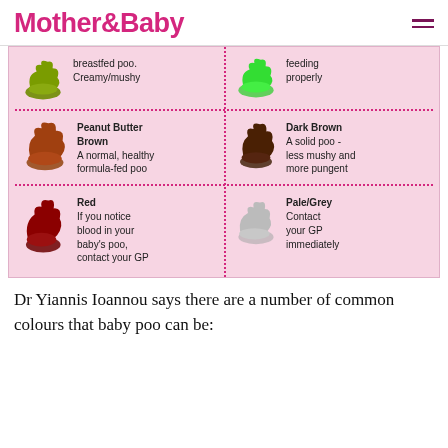Mother&Baby
[Figure (infographic): Infographic on pink background showing 6 baby poo types with coloured poo illustrations and descriptions. Top row (partially visible): olive-green poo - breastfed poo, creamy/mushy; bright green poo - feeding properly. Middle row: peanut butter brown poo - Peanut Butter Brown, A normal, healthy formula-fed poo; dark brown poo - Dark Brown, A solid poo - less mushy and more pungent. Bottom row: red poo - Red, If you notice blood in your baby's poo, contact your GP; pale/grey poo - Pale/Grey, Contact your GP immediately.]
Dr Yiannis Ioannou says there are a number of common colours that baby poo can be: